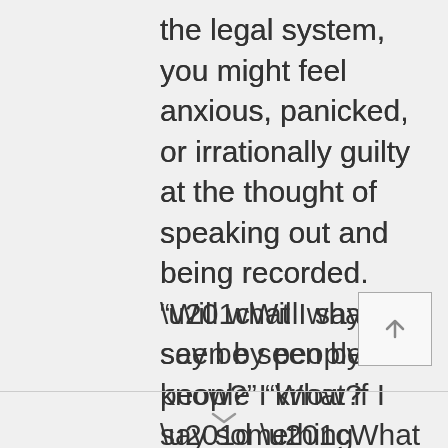the legal system, you might feel anxious, panicked, or irrationally guilty at the thought of speaking out and being recorded. “Will what I say be seen by people I know?” “What if I say something wrong?” “What happens to my statement after the deposition is over?”